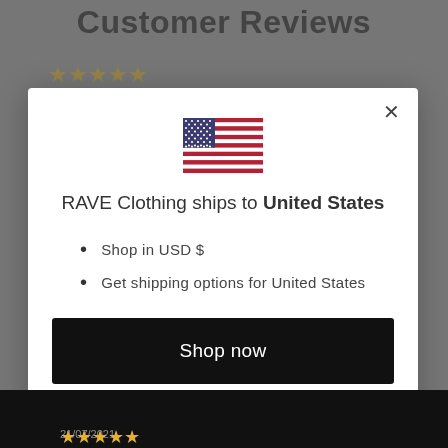Customer Reviews
[Figure (screenshot): US flag emoji/icon displayed in modal dialog]
RAVE Clothing ships to United States
Shop in USD $
Get shipping options for United States
Shop now
Change shipping country